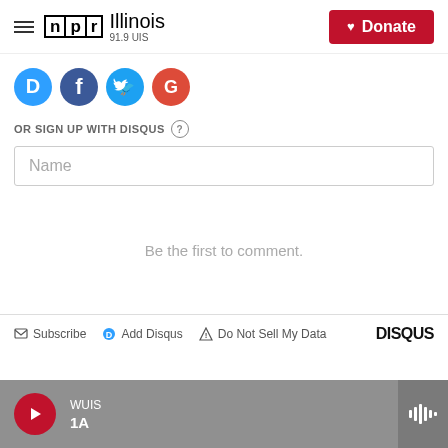NPR Illinois 91.9 UIS  Donate
[Figure (logo): Social login icons: Disqus (blue speech bubble), Facebook (dark blue), Twitter (light blue), Google (red)]
OR SIGN UP WITH DISQUS (?)
Name
Be the first to comment.
Subscribe  Add Disqus  Do Not Sell My Data  DISQUS
WUIS  1A